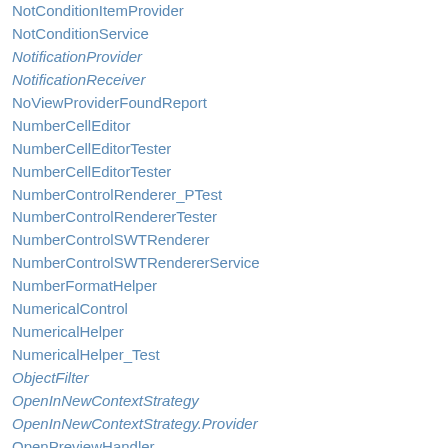NotConditionItemProvider
NotConditionService
NotificationProvider
NotificationReceiver
NoViewProviderFoundReport
NumberCellEditor
NumberCellEditorTester
NumberCellEditorTester
NumberControlRenderer_PTest
NumberControlRendererTester
NumberControlSWTRenderer
NumberControlSWTRendererService
NumberFormatHelper
NumericalControl
NumericalHelper
NumericalHelper_Test
ObjectFilter
OpenInNewContextStrategy
OpenInNewContextStrategy.Provider
OpenPreviewHandler
OpenProjectHandler
OpenTemplateEditorAction
OpenViewMigrationDialog
Optional
OrCondition
OrConditionImpl
OrConditionItemProvider
OrConditionService